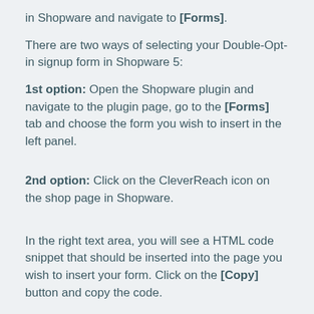in Shopware and navigate to [Forms].
There are two ways of selecting your Double-Opt-in signup form in Shopware 5:
1st option: Open the Shopware plugin and navigate to the plugin page, go to the [Forms] tab and choose the form you wish to insert in the left panel.
2nd option: Click on the CleverReach icon on the shop page in Shopware.
In the right text area, you will see a HTML code snippet that should be inserted into the page you wish to insert your form. Click on the [Copy] button and copy the code.